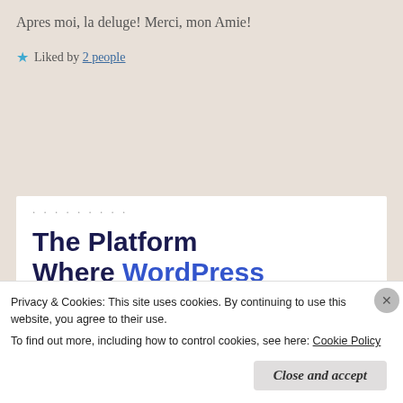Apres moi, la deluge! Merci, mon Amie!
★ Liked by 2 people
[Figure (other): WordPress advertisement card with dots and title 'The Platform Where WordPress Works Best']
Privacy & Cookies: This site uses cookies. By continuing to use this website, you agree to their use.
To find out more, including how to control cookies, see here: Cookie Policy
Close and accept